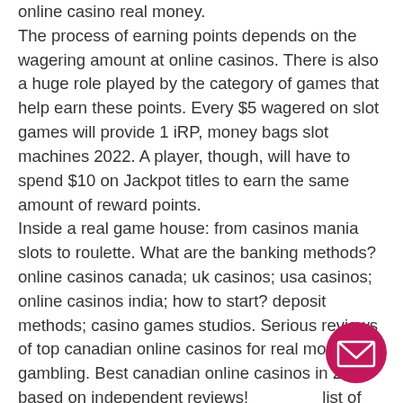online casino real money. The process of earning points depends on the wagering amount at online casinos. There is also a huge role played by the category of games that help earn these points. Every $5 wagered on slot games will provide 1 iRP, money bags slot machines 2022. A player, though, will have to spend $10 on Jackpot titles to earn the same amount of reward points. Inside a real game house: from casinos mania slots to roulette. What are the banking methods? online casinos canada; uk casinos; usa casinos; online casinos india; how to start? deposit methods; casino games studios. Serious reviews of top canadian online casinos for real money gambling. Best canadian online casinos in 2022 based on independent reviews! list of over 120 real money casinos in canada. Evolution online event. Find out
[Figure (other): Pink circular email/envelope button in bottom right corner]